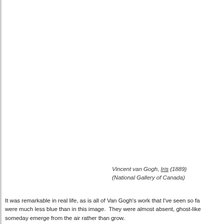Vincent van Gogh, Iris (1889) (National Gallery of Canada)
It was remarkable in real life, as is all of Van Gogh's work that I've seen so far. The irises were much less blue than in this image.  They were almost absent, ghost-like, as if they would someday emerge from the air rather than grow.